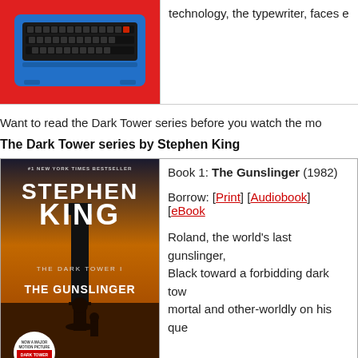[Figure (photo): A blue typewriter on a red background, viewed from above]
technology, the typewriter, faces e
Want to read the Dark Tower series before you watch the mo
The Dark Tower series by Stephen King
[Figure (photo): Book cover of 'The Dark Tower I: The Gunslinger' by Stephen King, showing a gunslinger figure in a desert landscape with a dark tower, labeled #1 New York Times Bestseller and Now a Major Motion Picture]
Book 1: The Gunslinger (1982)
Borrow: [Print] [Audiobook] [eBook
Roland, the world's last gunslinger, Black toward a forbidding dark tow mortal and other-worldly on his que